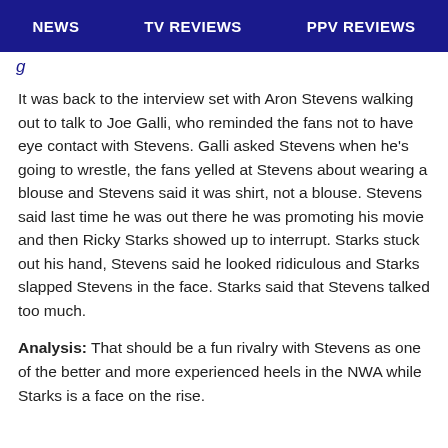NEWS   TV REVIEWS   PPV REVIEWS
It was back to the interview set with Aron Stevens walking out to talk to Joe Galli, who reminded the fans not to have eye contact with Stevens. Galli asked Stevens when he's going to wrestle, the fans yelled at Stevens about wearing a blouse and Stevens said it was shirt, not a blouse. Stevens said last time he was out there he was promoting his movie and then Ricky Starks showed up to interrupt. Starks stuck out his hand, Stevens said he looked ridiculous and Starks slapped Stevens in the face. Starks said that Stevens talked too much.
Analysis: That should be a fun rivalry with Stevens as one of the better and more experienced heels in the NWA while Starks is a face on the rise.